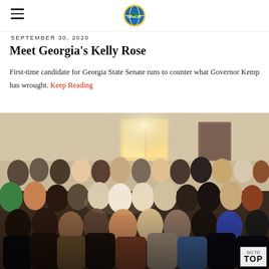≡  DPuCaT (logo)
SEPTEMBER 30, 2020
Meet Georgia's Kelly Rose
First-time candidate for Georgia State Senate runs to counter what Governor Kemp has wrought. Keep Reading
[Figure (photo): A large indoor gathering of people seated in rows, listening attentively in what appears to be a community meeting room with warm lighting and a window in the background.]
GO TO TOP